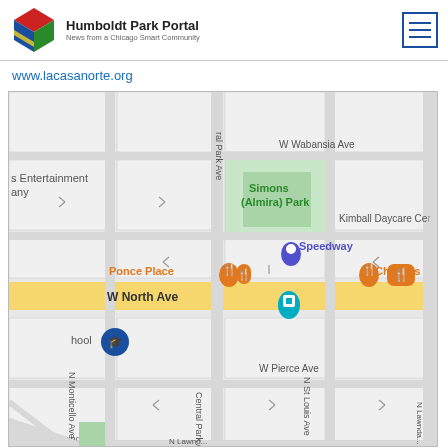Humboldt Park Portal - News from a Chicago Smart Community
www.lacasanorte.org
[Figure (map): Google Maps screenshot showing W North Ave area in Chicago with nearby landmarks including Simons (Almira) Park, Speedway, Ponce Place, Chema's, Little Caesars Pizza, Kimball Daycare Center. Streets visible: W Wabansia Ave, W North Ave, W Pierce Ave, N Monticello Ave, Central Park Ave, N St Louis Ave, N Lawndale.]